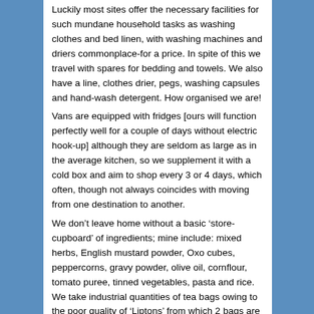Luckily most sites offer the necessary facilities for such mundane household tasks as washing clothes and bed linen, with washing machines and driers commonplace-for a price. In spite of this we travel with spares for bedding and towels. We also have a line, clothes drier, pegs, washing capsules and hand-wash detergent. How organised we are!
Vans are equipped with fridges [ours will function perfectly well for a couple of days without electric hook-up] although they are seldom as large as in the average kitchen, so we supplement it with a cold box and aim to shop every 3 or 4 days, which often, though not always coincides with moving from one destination to another.
We don't leave home without a basic 'store-cupboard' of ingredients; mine include: mixed herbs, English mustard powder, Oxo cubes, peppercorns, gravy powder, olive oil, cornflour, tomato puree, tinned vegetables, pasta and rice. We take industrial quantities of tea bags owing to the poor quality of 'Liptons' from which 2 bags are necessary to make one, weak cup of tea. Anything else is widely available in the supermarche.
Wandering around a French supermarket doesn't feel too